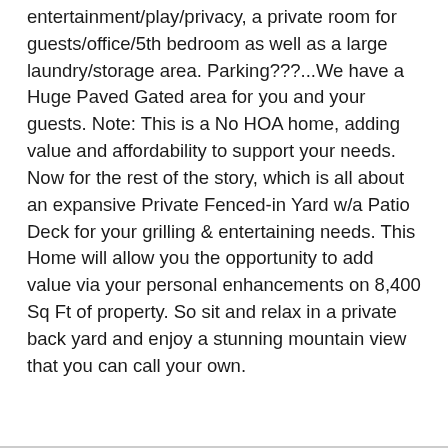entertainment/play/privacy, a private room for guests/office/5th bedroom as well as a large laundry/storage area. Parking???...We have a Huge Paved Gated area for you and your guests. Note: This is a No HOA home, adding value and affordability to support your needs. Now for the rest of the story, which is all about an expansive Private Fenced-in Yard w/a Patio Deck for your grilling & entertaining needs. This Home will allow you the opportunity to add value via your personal enhancements on 8,400 Sq Ft of property. So sit and relax in a private back yard and enjoy a stunning mountain view that you can call your own.